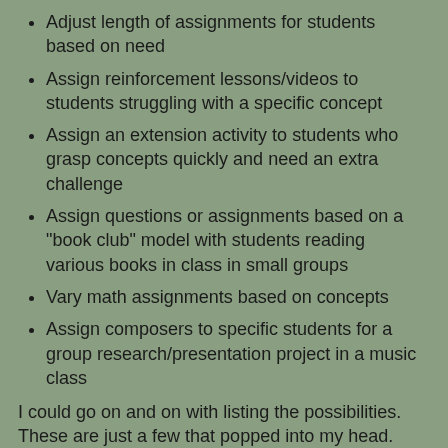Adjust length of assignments for students based on need
Assign reinforcement lessons/videos to students struggling with a specific concept
Assign an extension activity to students who grasp concepts quickly and need an extra challenge
Assign questions or assignments based on a "book club" model with students reading various books in class in small groups
Vary math assignments based on concepts
Assign composers to specific students for a group research/presentation project in a music class
I could go on and on with listing the possibilities.  These are just a few that popped into my head.  The one item you may want to think about is document organization.  If you create variations on the same assignment, I suggest you come up with a system that clearly, yet discreetly identifies the assignment.  I prefer Alice Keeler's tip on numbering